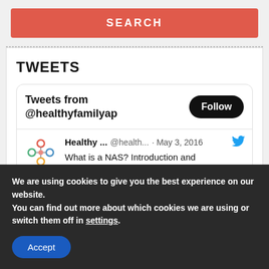SEARCH
TWEETS
Tweets from @healthyfamilyap
Healthy ... @health... · May 3, 2016
What is a NAS? Introduction and Functionalities - go.shr.lc/1NeVPMy via
We are using cookies to give you the best experience on our website.
You can find out more about which cookies we are using or switch them off in settings.
Accept